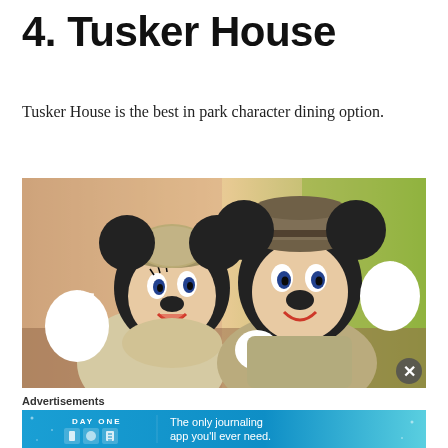4. Tusker House
Tusker House is the best in park character dining option.
[Figure (photo): Photo of Mickey Mouse and Minnie Mouse characters dressed in safari/khaki outfits, both waving at the camera, with a warm indoor background.]
Advertisements
[Figure (screenshot): Advertisement banner for Day One journaling app with teal/blue background, app icons, and text 'The only journaling app you'll ever need.']